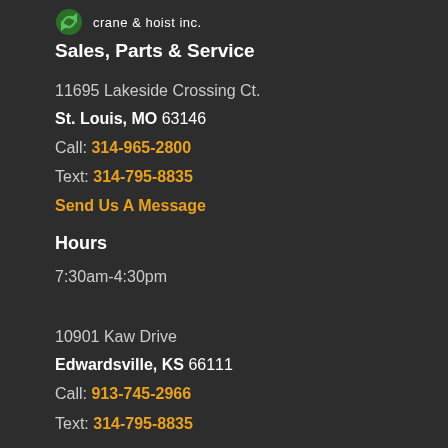[Figure (logo): Crane & hoist inc. logo with green graphic and white text 'crane & hoist inc.']
Sales, Parts & Service
11695 Lakeside Crossing Ct.
St. Louis, MO 63146
Call: 314-965-2800
Text: 314-795-8835
Send Us A Message
Hours
7:30am-4:30pm
10901 Kaw Drive
Edwardsville, KS 66111
Call: 913-745-2966
Text: 314-795-8835